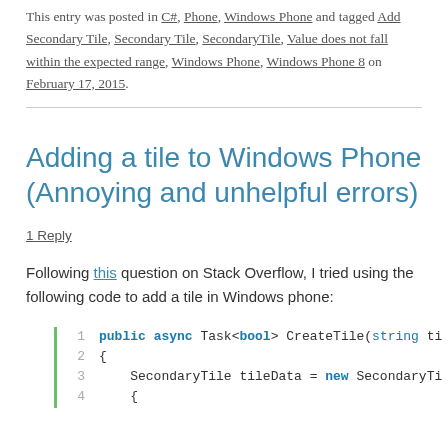This entry was posted in C#, Phone, Windows Phone and tagged Add Secondary Tile, Secondary Tile, SecondaryTile, Value does not fall within the expected range, Windows Phone, Windows Phone 8 on February 17, 2015.
Adding a tile to Windows Phone (Annoying and unhelpful errors)
1 Reply
Following this question on Stack Overflow, I tried using the following code to add a tile in Windows phone:
1  public async Task<bool> CreateTile(string ti
2  {
3      SecondaryTile tileData = new SecondaryTi
4      {